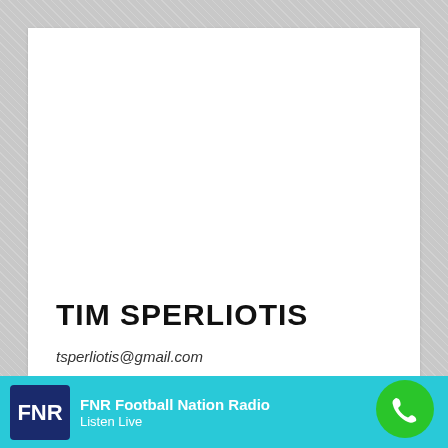[Figure (logo): Golden geometric diamond/cross pattern logo on white card background]
TIM SPERLIOTIS
tsperliotis@gmail.com
You May Also Like
A-League Sunday Wrap: Wellington Pho...
[Figure (logo): FNR Football Nation Radio logo on teal bar]
FNR Football Nation Radio
Listen Live